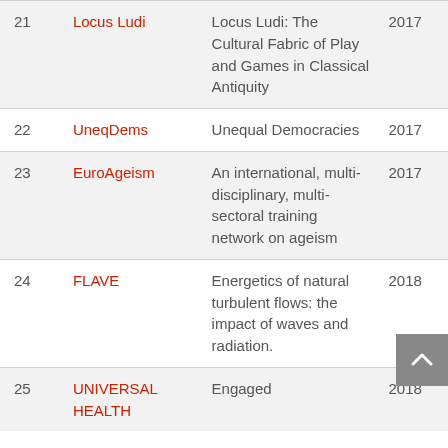| # | Acronym | Description | Year |
| --- | --- | --- | --- |
| 21 | Locus Ludi | Locus Ludi: The Cultural Fabric of Play and Games in Classical Antiquity | 2017 |
| 22 | UneqDems | Unequal Democracies | 2017 |
| 23 | EuroAgeism | An international, multi-disciplinary, multi-sectoral training network on ageism | 2017 |
| 24 | FLAVE | Energetics of natural turbulent flows: the impact of waves and radiation. | 2018 |
| 25 | UNIVERSAL HEALTH | Engaged | 2018 |